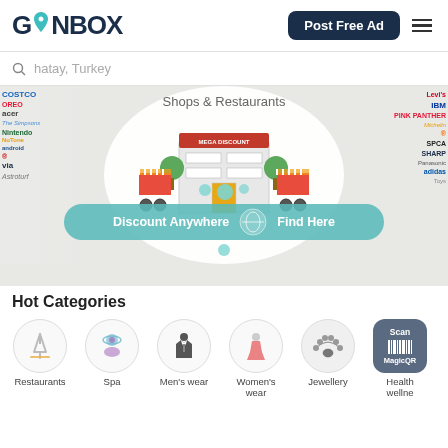[Figure (logo): GONBOX logo with teal pin icon replacing the O]
Post Free Ad
hatay, Turkey
[Figure (illustration): Banner showing Shops & Restaurants with illustrated storefront and 'Discount Anywhere Find Here' teal button, surrounded by brand logos on sides]
Hot Categories
[Figure (illustration): Restaurants category icon - fork and knife cross in circle]
Restaurants
[Figure (illustration): Spa category icon - person with halo in circle]
Spa
[Figure (illustration): Men's wear category icon - suit in circle]
Men's wear
[Figure (illustration): Women's wear category icon - woman in dress in circle]
Women's wear
[Figure (illustration): Jewellery category icon - necklace in circle]
Jewellery
[Figure (illustration): Health wellne category icon - dark blue square with Scan and MagicQR text]
Health wellne